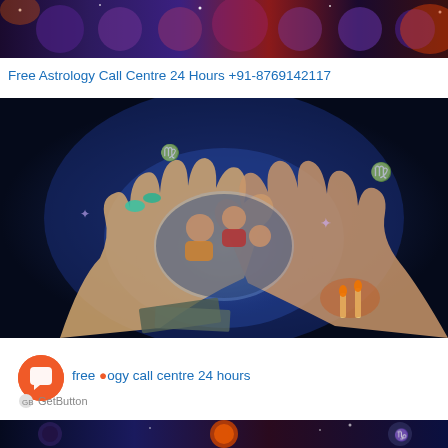[Figure (photo): Astrology themed banner image with zodiac signs and celestial imagery at the top of the page]
Free Astrology Call Centre 24 Hours +91-8769142117
[Figure (photo): Mystical astrology image showing hands with glowing astrological symbols, people looking at phones, candles, and dollar bills]
[Figure (illustration): Orange circular chat button with speech bubble icon]
free astrology call centre 24 hours
GetButton
[Figure (photo): Partial astrology themed image at the bottom of the page, dark blue tones with zodiac symbols]